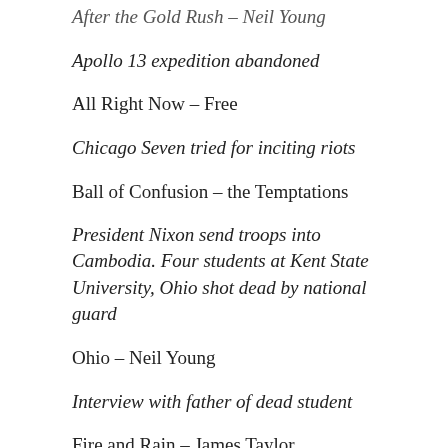After the Gold Rush – Neil Young
Apollo 13 expedition abandoned
All Right Now – Free
Chicago Seven tried for inciting riots
Ball of Confusion – the Temptations
President Nixon send troops into Cambodia. Four students at Kent State University, Ohio shot dead by national guard
Ohio – Neil Young
Interview with father of dead student
Fire and Rain – James Taylor